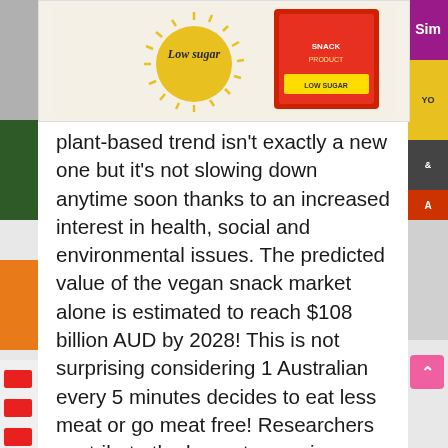[Figure (photo): Top portion of a product image showing a sun illustration with 'Low sugar' text in script font and what appears to be a snack product package in the background, on a light beige/cream background.]
plant-based trend isn't exactly a new one but it's not slowing down anytime soon thanks to an increased interest in health, social and environmental issues. The predicted value of the vegan snack market alone is estimated to reach $108 billion AUD by 2028! This is not surprising considering 1 Australian every 5 minutes decides to eat less meat or go meat free! Researchers contribute the boom to growing consumer awareness about plant-based, natural products and the rise in per capita disposable income leading to increased snacking.